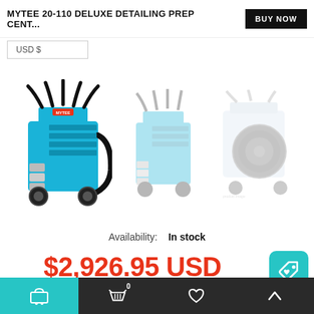MYTEE 20-110 DELUXE DETAILING PREP CENT...
USD $
[Figure (photo): Three views of the Mytee 20-110 Deluxe Detailing Prep Center machine. Left: front view showing blue body with black hoses and chrome fittings. Center: slightly faded front view. Right: faded rear view.]
Availability:   In stock
$2,926.95 USD
Cart  0   Favorites  Up